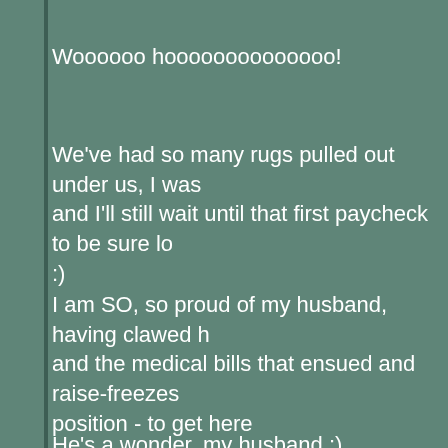Woooooo hoooooooooooooo!
We've had so many rugs pulled out under us, I was and I'll still wait until that first paycheck to be sure lo :)
I am SO, so proud of my husband, having clawed h and the medical bills that ensued and raise-freezes position - to get here
He's a wonder, my husband :)
I love you, Mark, I'm so proud of you - and this pulled out from under us, at the last minute - it